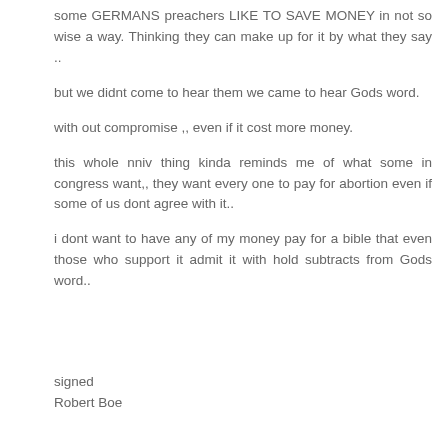some GERMANS preachers LIKE TO SAVE MONEY in not so wise a way. Thinking they can make up for it by what they say ..
but we didnt come to hear them we came to hear Gods word.
with out compromise ,, even if it cost more money.
this whole nniv thing kinda reminds me of what some in congress want,, they want every one to pay for abortion even if some of us dont agree with it..
i dont want to have any of my money pay for a bible that even those who support it admit it with hold subtracts from Gods word..
signed
Robert Boe